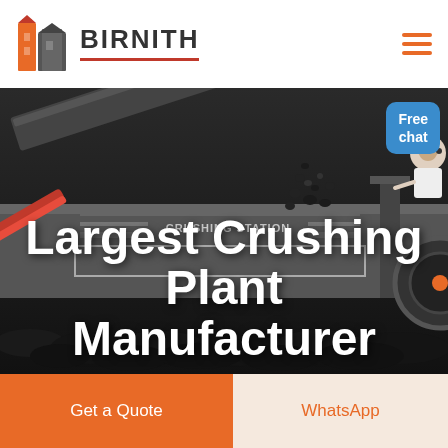[Figure (logo): Birnith logo with orange and grey building/tower icon and brand name BIRNITH with red underline]
[Figure (photo): Industrial crushing station machinery in dark monochrome tones with rocks/coal falling, heavy equipment visible, text CRUSHING STATION on machine, with a customer service representative figure and Free chat button overlay]
Largest Crushing Plant Manufacturer
Get a Quote
WhatsApp